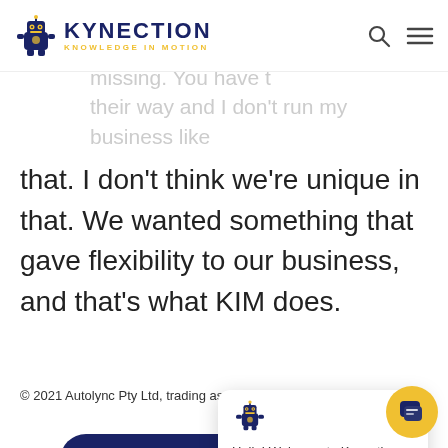[Figure (logo): Kynection logo with robot mascot and tagline KNOWLEDGE IN MOTION]
have all the singing and dancing but they missing. You have to do it their way and I don't run my business like that. I don't think we're unique in that. We wanted something that gave flexibility to our business, and that's what KIM does.
© 2021 Autolync Pty Ltd, trading as Kynection
[Figure (screenshot): Chat popup widget showing robot mascot, close button, and message: Hello! Welcome to Kynection. How can we assist you?]
[Figure (other): Yellow circular chat FAB button with speech bubble icon]